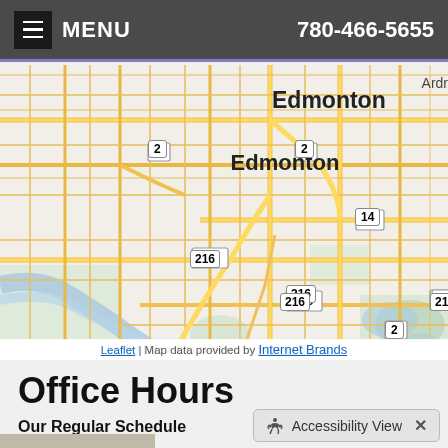MENU   780-466-5655
[Figure (map): Street map showing Edmonton and Sherwood Park area in Alberta, Canada. Shows road networks with route markers 2, 14, and 216. Map Marker indicator shown near center. Attribution: Leaflet | Map data provided by Internet Brands.]
Office Hours
Our Regular Schedule
Accessibility View